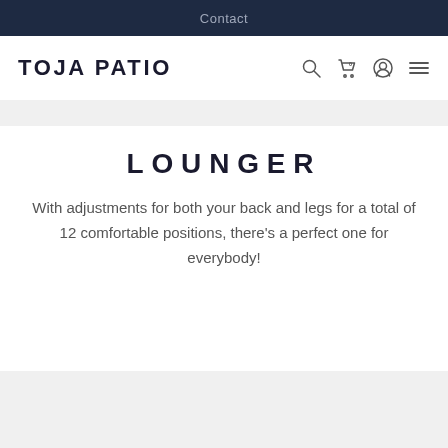Contact
TOJA PATIO
LOUNGER
With adjustments for both your back and legs for a total of 12 comfortable positions, there's a perfect one for everybody!